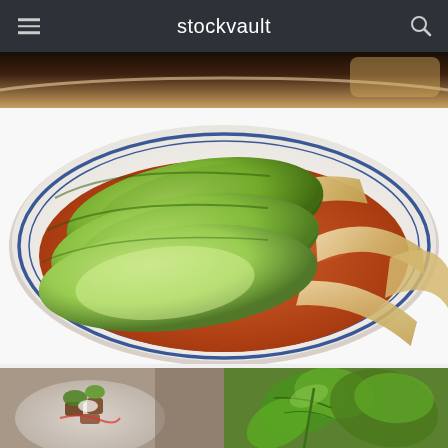stockvault
[Figure (photo): Cropped top strip of a food photo, appears to be a bowl with food, dark and warm tones]
[Figure (photo): Bowl of tortilla soup with avocado slices on top and tortilla strips, red/orange broth, in a white plate with blue rim, on white background]
[Figure (photo): Plate with food garnished with greens and sauce, bottom-left thumbnail]
[Figure (photo): Close-up of fresh herbs/cilantro leaves, bottom-right thumbnail]